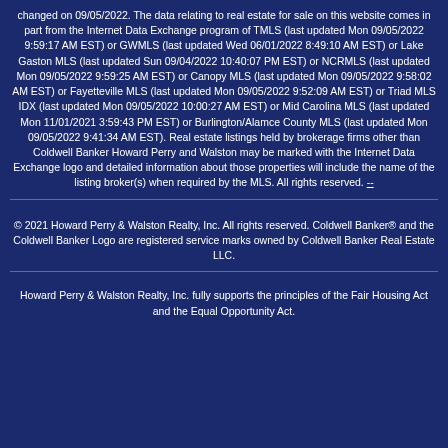changed on 09/05/2022. The data relating to real estate for sale on this website comes in part from the Internet Data Exchange program of TMLS (last updated Mon 09/05/2022 9:59:17 AM EST) or GWMLS (last updated Wed 06/01/2022 8:49:10 AM EST) or Lake Gaston MLS (last updated Sun 09/04/2022 10:40:07 PM EST) or NCRMLS (last updated Mon 09/05/2022 9:59:25 AM EST) or Canopy MLS (last updated Mon 09/05/2022 9:58:02 AM EST) or Fayetteville MLS (last updated Mon 09/05/2022 9:52:09 AM EST) or Triad MLS IDX (last updated Mon 09/05/2022 10:00:27 AM EST) or Mid Carolina MLS (last updated Mon 11/01/2021 3:59:43 PM EST) or Burlington/Alamce County MLS (last updated Mon 09/05/2022 9:41:34 AM EST). Real estate listings held by brokerage firms other than Coldwell Banker Howard Perry and Walston may be marked with the Internet Data Exchange logo and detailed information about those properties will include the name of the listing broker(s) when required by the MLS. All rights reserved. --
© 2021 Howard Perry & Walston Realty, Inc. All rights reserved. Coldwell Banker® and the Coldwell Banker Logo are registered service marks owned by Coldwell Banker Real Estate LLC.
Howard Perry & Walston Realty, Inc. fully supports the principles of the Fair Housing Act and the Equal Opportunity Act.